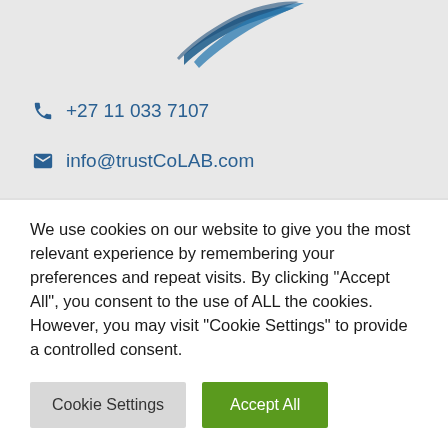[Figure (logo): Partial blue brushstroke logo at top center of page, partially cropped]
+27 11 033 7107
info@trustCoLAB.com
Address: 10 Chryston Rd...
We use cookies on our website to give you the most relevant experience by remembering your preferences and repeat visits. By clicking "Accept All", you consent to the use of ALL the cookies. However, you may visit "Cookie Settings" to provide a controlled consent.
Cookie Settings
Accept All